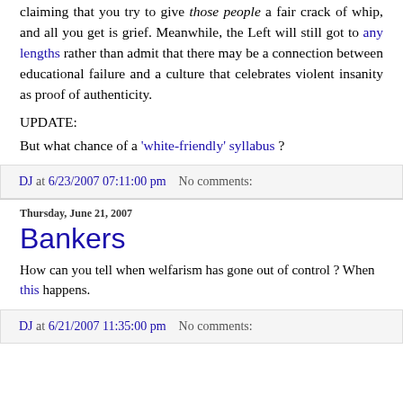claiming that you try to give those people a fair crack of whip, and all you get is grief. Meanwhile, the Left will still got to any lengths rather than admit that there may be a connection between educational failure and a culture that celebrates violent insanity as proof of authenticity.
UPDATE:
But what chance of a 'white-friendly' syllabus ?
DJ at 6/23/2007 07:11:00 pm   No comments:
Thursday, June 21, 2007
Bankers
How can you tell when welfarism has gone out of control ? When this happens.
DJ at 6/21/2007 11:35:00 pm   No comments: